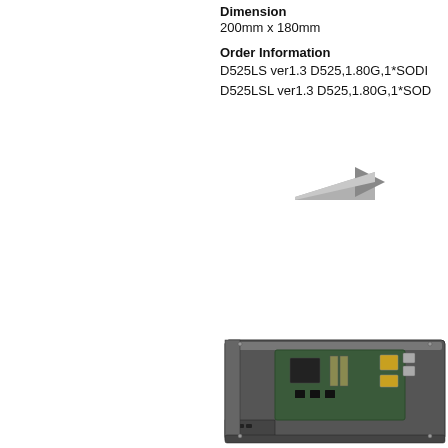Dimension
200mm x 180mm
Order Information
D525LS ver1.3 D525,1.80G,1*SODI
D525LSL ver1.3 D525,1.80G,1*SOD
[Figure (photo): Grey triangular arrow shape pointing right]
[Figure (photo): Photo of a rack-mounted server/embedded computing board in a 1U chassis, showing the motherboard with various connectors and components visible from above at an angle]